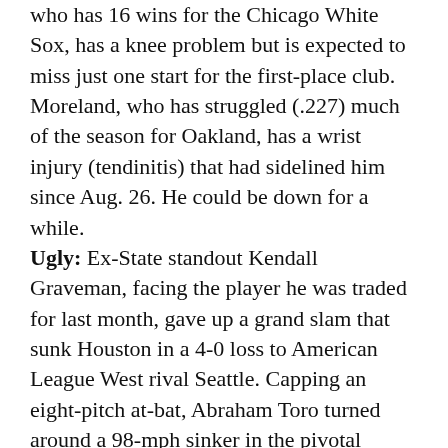who has 16 wins for the Chicago White Sox, has a knee problem but is expected to miss just one start for the first-place club. Moreland, who has struggled (.227) much of the season for Oakland, has a wrist injury (tendinitis) that had sidelined him since Aug. 26. He could be down for a while. Ugly: Ex-State standout Kendall Graveman, facing the player he was traded for last month, gave up a grand slam that sunk Houston in a 4-0 loss to American League West rival Seattle. Capping an eight-pitch at-bat, Abraham Toro turned around a 98-mph sinker in the pivotal bottom of the eighth inning. “It’s crazy how this game, things work out and things line up …,” Mariners manager Scott Servais told mlb.com. Graveman (5-1), who retired just one of the five batters he faced, had allowed only five earned runs in 41